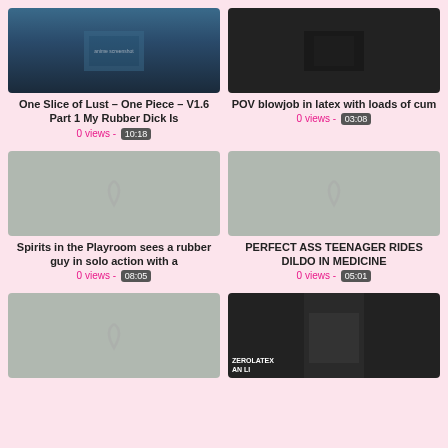[Figure (screenshot): Video thumbnail - anime/game screenshot with character]
[Figure (screenshot): Video thumbnail - dark latex video thumbnail]
One Slice of Lust – One Piece – V1.6 Part 1 My Rubber Dick Is
0 views - 10:18
POV blowjob in latex with loads of cum
0 views - 03:08
[Figure (screenshot): Video thumbnail loading spinner - gray placeholder]
[Figure (screenshot): Video thumbnail loading spinner - gray placeholder]
Spirits in the Playroom sees a rubber guy in solo action with a
0 views - 08:05
PERFECT ASS TEENAGER RIDES DILDO IN MEDICINE
0 views - 05:01
[Figure (screenshot): Video thumbnail loading spinner - gray placeholder]
[Figure (screenshot): Video thumbnail - dark video with AN LI text overlay]